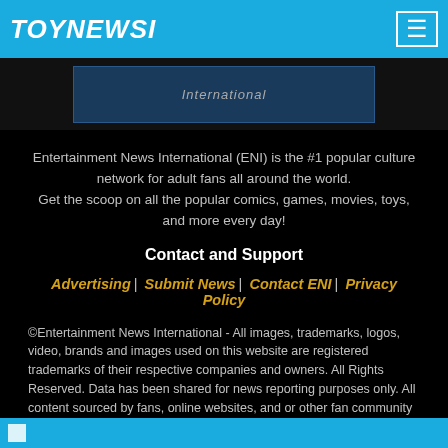TOYNEWSI
[Figure (screenshot): Partial banner image showing 'International' text on a dark background]
Entertainment News International (ENI) is the #1 popular culture network for adult fans all around the world. Get the scoop on all the popular comics, games, movies, toys, and more every day!
Contact and Support
Advertising | Submit News | Contact ENI | Privacy Policy
©Entertainment News International - All images, trademarks, logos, video, brands and images used on this website are registered trademarks of their respective companies and owners. All Rights Reserved. Data has been shared for news reporting purposes only. All content sourced by fans, online websites, and or other fan community sources. Entertainment News International is not responsible for reporting errors, inaccuracies, omissions, and or other liablities related to news shared here. We do our best to keep tabs on infringements. If some of your content was shared by accident. Contact us about any infringements right away - CLICK HERE